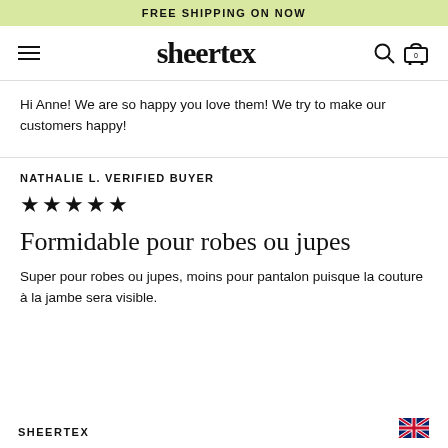FREE SHIPPING ON NOW
[Figure (logo): Sheertex logo with hamburger menu, search icon, and cart icon]
Hi Anne! We are so happy you love them! We try to make our customers happy!
NATHALIE L. VERIFIED BUYER
★★★★★
Formidable pour robes ou jupes
Super pour robes ou jupes, moins pour pantalon puisque la couture à la jambe sera visible.
SHEERTEX